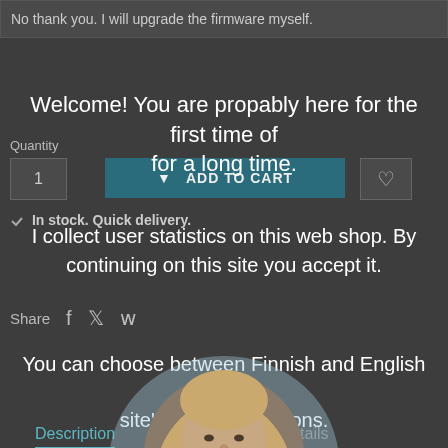No thank you. I will upgrade the firmware myself.
Quantity
1
ADD TO CART
In stock. Quick delivery.
Share
Description
Product Details
32-bit floating-point DSP — Analog Devices processor
Dirac Live® digital room correction
Quad core ARM for streaming features, Volumio
Welcome! You are propably here for the first time of for a long time.
I collect user statistics on this web shop. By continuing on this site you accept it.
You can choose between Finnish and English on the site's language options.
[Figure (photo): Profile photo of a person with long hair and beard, shown in an oval/ellipse overlay on the page]
J.H. 28.8.2022
✕